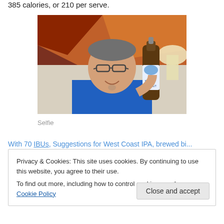385 calories, or 210 per serve.
[Figure (photo): A man in a blue shirt holding up a beer bottle with an IPA label, sitting in front of a colorful abstract painting.]
Selfie
With 70 IBUs, Suggestions for West Coast IPA, brewed bi...
Privacy & Cookies: This site uses cookies. By continuing to use this website, you agree to their use.
To find out more, including how to control cookies, see here: Cookie Policy
Close and accept